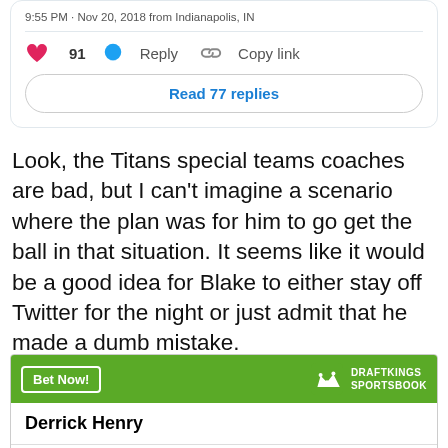[Figure (screenshot): Partial tweet card showing timestamp '9:55 PM · Nov 20, 2018 from Indianapolis, IN', like count of 91, Reply and Copy link buttons, and a 'Read 77 replies' button.]
Look, the Titans special teams coaches are bad, but I can't imagine a scenario where the plan was for him to go get the ball in that situation. It seems like it would be a good idea for Blake to either stay off Twitter for the night or just admit that he made a dumb mistake.
[Figure (infographic): DraftKings Sportsbook advertisement. Header with 'Bet Now!' button and DraftKings Sportsbook logo. Player: Derrick Henry. Bet: To win MVP, odds: +5000.]